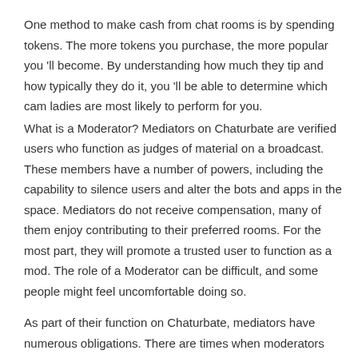One method to make cash from chat rooms is by spending tokens. The more tokens you purchase, the more popular you 'll become. By understanding how much they tip and how typically they do it, you 'll be able to determine which cam ladies are most likely to perform for you.
What is a Moderator? Mediators on Chaturbate are verified users who function as judges of material on a broadcast. These members have a number of powers, including the capability to silence users and alter the bots and apps in the space. Mediators do not receive compensation, many of them enjoy contributing to their preferred rooms. For the most part, they will promote a trusted user to function as a mod. The role of a Moderator can be difficult, and some people might feel uncomfortable doing so.
As part of their function on Chaturbate, mediators have numerous obligations. There are times when moderators need to put on and take a break 't want to connect with users.